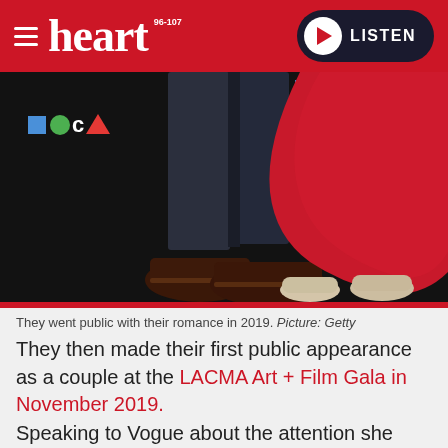heart 96-107 | LISTEN
[Figure (photo): Close-up of two people's legs at MOCA event on a dark carpet. One person wears dark suit trousers and brown leather shoes; the other wears a red gown and nude heels. MOCA logo visible in background.]
They went public with their romance in 2019. Picture: Getty
They then made their first public appearance as a couple at the LACMA Art + Film Gala in November 2019.
Speaking to Vogue about the attention she received, Alexandra later said: "I think every single person I knew